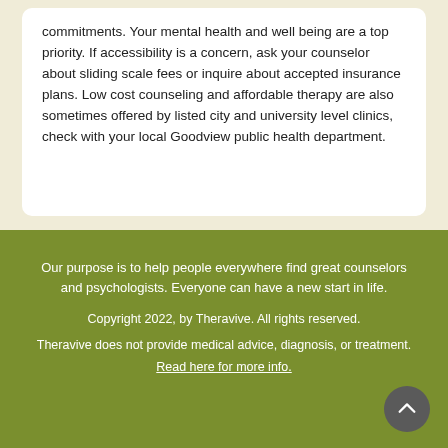commitments. Your mental health and well being are a top priority. If accessibility is a concern, ask your counselor about sliding scale fees or inquire about accepted insurance plans. Low cost counseling and affordable therapy are also sometimes offered by listed city and university level clinics, check with your local Goodview public health department.
Our purpose is to help people everywhere find great counselors and psychologists. Everyone can have a new start in life.

Copyright 2022, by Theravive. All rights reserved.

Theravive does not provide medical advice, diagnosis, or treatment.

Read here for more info.